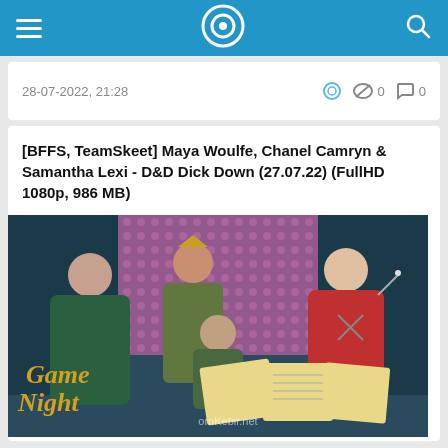Navigation bar with hamburger menu, logo, and search icon
28-07-2022, 21:28  0  0
[BFFS, TeamSkeet] Maya Woulfe, Chanel Camryn & Samantha Lexi - D&D Dick Down (27.07.22) (FullHD 1080p, 986 MB)
[Figure (photo): Promotional photo for 'Game Night' showing four people in fantasy/Halloween costumes against a fantasy backdrop. Three women standing and one man crouching in the center. Text 'Game Night' visible in lower left. D&D character sheets visible in foreground. Watermark visible.]